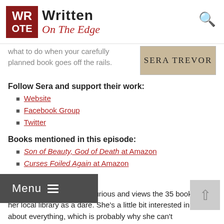Written On The Edge
what to do when your carefully planned book goes off the rails.
Follow Sera and support their work:
Website
Facebook Group
Twitter
Books mentioned in this episode:
Son of Beauty, God of Death at Amazon
Curses Foiled Again at Amazon
Bio:
Sera Trevor is terminally curious and views the 35 book limit at her local library as a dare. She's a little bit interested in just about everything, which is probably why she can't